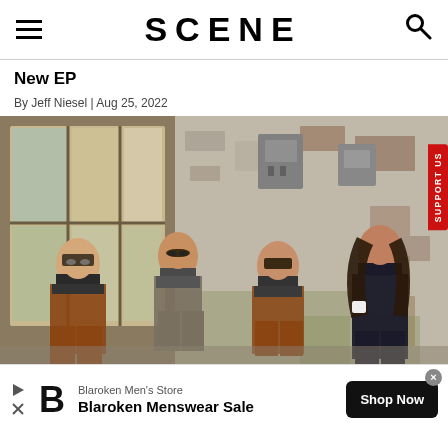SCENE
New EP
By Jeff Niesel | Aug 25, 2022
[Figure (photo): Four band members sitting and standing in front of an aged brick/concrete wall with industrial windows. Three wear brown overalls; one wears a dark outfit. A red 'SUPPORT US' badge appears on the right edge.]
[Figure (screenshot): Advertisement banner: Blaroken Men's Store - Blaroken Menswear Sale, with a Shop Now button and close X button.]